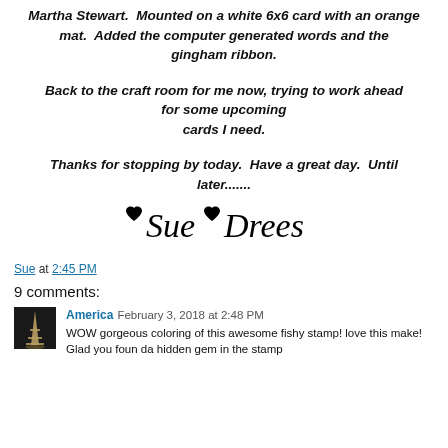Martha Stewart.  Mounted on a white 6x6 card with an orange mat.  Added the computer generated words and the gingham ribbon.
Back to the craft room for me now, trying to work ahead for some upcoming cards I need.
Thanks for stopping by today.  Have a great day.  Until later.......
[Figure (illustration): Stylized cursive signature reading 'Sue Drees' with decorative hearts]
Sue at 2:45 PM
9 comments:
America  February 3, 2018 at 2:48 PM
WOW gorgeous coloring of this awesome fishy stamp! love this make! Glad you foun da hidden gem in the stamp